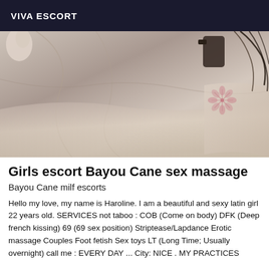VIVA ESCORT
[Figure (photo): Close-up photo of fabric/bedding with a floral tattoo visible on skin in the background]
Girls escort Bayou Cane sex massage
Bayou Cane milf escorts
Hello my love, my name is Haroline. I am a beautiful and sexy latin girl 22 years old. SERVICES not taboo : COB (Come on body) DFK (Deep french kissing) 69 (69 sex position) Striptease/Lapdance Erotic massage Couples Foot fetish Sex toys LT (Long Time; Usually overnight) call me : EVERY DAY ... City: NICE . MY PRACTICES